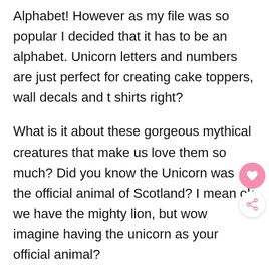Alphabet! However as my file was so popular I decided that it has to be an alphabet. Unicorn letters and numbers are just perfect for creating cake toppers, wall decals and t shirts right?
What is it about these gorgeous mythical creatures that make us love them so much? Did you know the Unicorn was the official animal of Scotland? I mean ok we have the mighty lion, but wow imagine having the unicorn as your official animal?